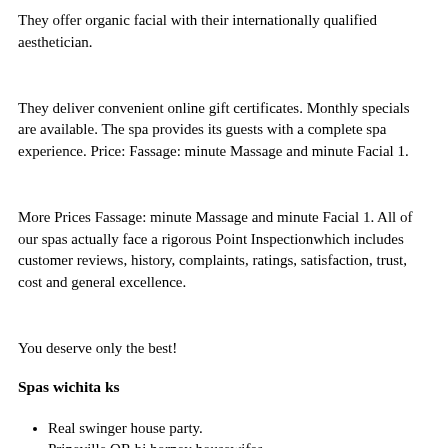They offer organic facial with their internationally qualified aesthetician.
They deliver convenient online gift certificates. Monthly specials are available. The spa provides its guests with a complete spa experience. Price: Fassage: minute Massage and minute Facial 1.
More Prices Fassage: minute Massage and minute Facial 1. All of our spas actually face a rigorous Point Inspectionwhich includes customer reviews, history, complaints, ratings, satisfaction, trust, cost and general excellence.
You deserve only the best!
Spas wichita ks
Real swinger house party.
Prineville OR bi horney housewifes.
Male adult games.